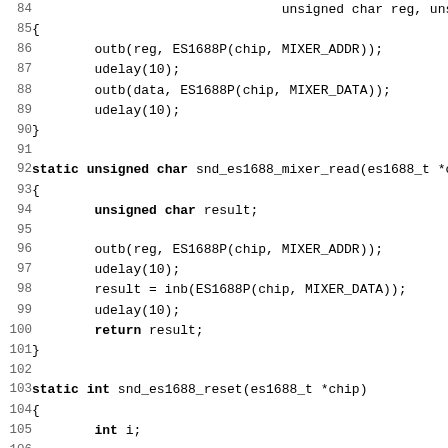Source code listing lines 84-115, C language, showing snd_es1688_mixer_write, snd_es1688_mixer_read, and snd_es1688_reset functions